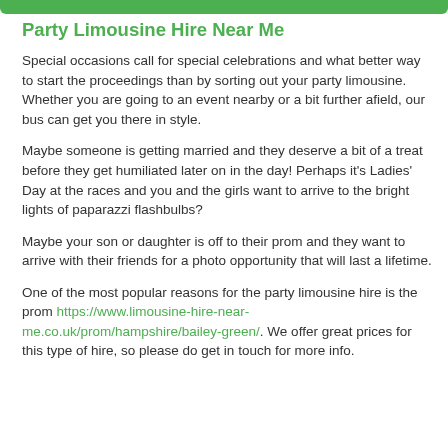Party Limousine Hire Near Me
Special occasions call for special celebrations and what better way to start the proceedings than by sorting out your party limousine. Whether you are going to an event nearby or a bit further afield, our bus can get you there in style.
Maybe someone is getting married and they deserve a bit of a treat before they get humiliated later on in the day! Perhaps it's Ladies' Day at the races and you and the girls want to arrive to the bright lights of paparazzi flashbulbs?
Maybe your son or daughter is off to their prom and they want to arrive with their friends for a photo opportunity that will last a lifetime.
One of the most popular reasons for the party limousine hire is the prom https://www.limousine-hire-near-me.co.uk/prom/hampshire/bailey-green/. We offer great prices for this type of hire, so please do get in touch for more info.